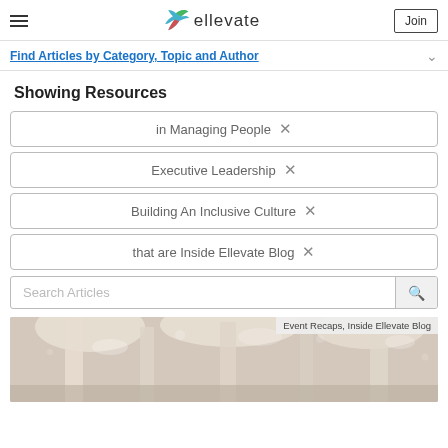ellevate — hamburger menu, logo, Join button
Find Articles by Category, Topic and Author
Showing Resources
in Managing People ×
Executive Leadership ×
Building An Inclusive Culture ×
that are Inside Ellevate Blog ×
Search Articles
Event Recaps, Inside Ellevate Blog
[Figure (photo): Interior photo of a bright, airy event venue with tall white columns and bokeh lighting overhead]